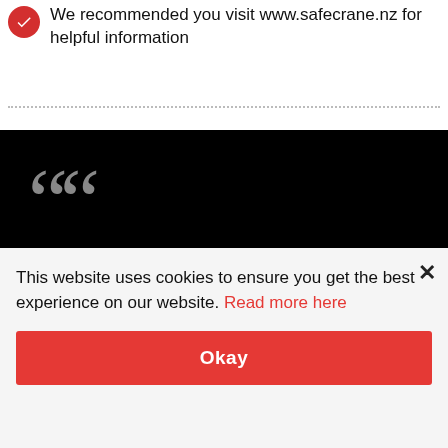We recommended you visit www.safecrane.nz for helpful information
[Figure (screenshot): Black panel with large gray quotation marks and the beginning of a testimonial quote: 'The trainer was an amazing facilitator. Straight']
This website uses cookies to ensure you get the best experience on our website. Read more here
Okay